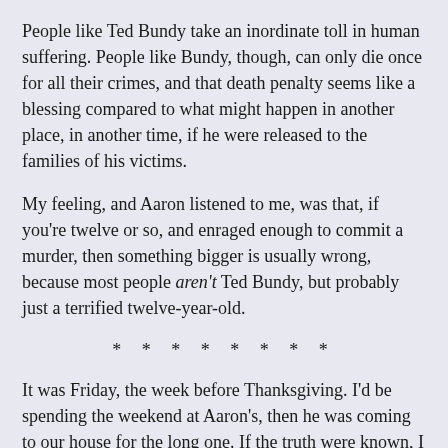People like Ted Bundy take an inordinate toll in human suffering. People like Bundy, though, can only die once for all their crimes, and that death penalty seems like a blessing compared to what might happen in another place, in another time, if he were released to the families of his victims.
My feeling, and Aaron listened to me, was that, if you're twelve or so, and enraged enough to commit a murder, then something bigger is usually wrong, because most people aren't Ted Bundy, but probably just a terrified twelve-year-old.
* * * * * * * *
It was Friday, the week before Thanksgiving. I'd be spending the weekend at Aaron's, then he was coming to our house for the long one. If the truth were known, I would have preferred the opposite, just to see Aaron's grandfather again. Instead, Aaron had to meet mine, and I had no Idea where I'd stand with my grandparents when they learned I was gay.
It was an average day at school. Classes, then lunch with my friends, gym right after, then history. I stayed after for a meeting of our drama club, called, 'Props and Paints'. The meeting was in the auditorium, and was part casting call for a play, part call for